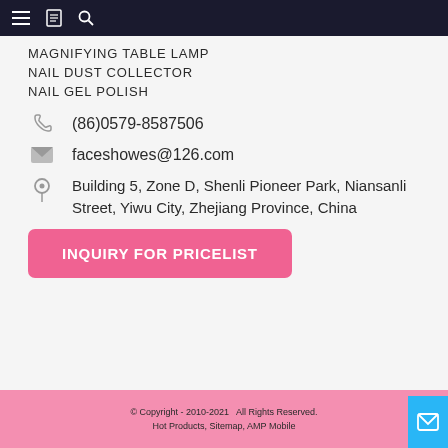Navigation bar with menu, bookmark, and search icons
MAGNIFYING TABLE LAMP
NAIL DUST COLLECTOR
NAIL GEL POLISH
(86)0579-8587506
faceshowes@126.com
Building 5, Zone D, Shenli Pioneer Park, Niansanli Street, Yiwu City, Zhejiang Province, China
INQUIRY FOR PRICELIST
© Copyright - 2010-2021  All Rights Reserved. Hot Products, Sitemap, AMP Mobile